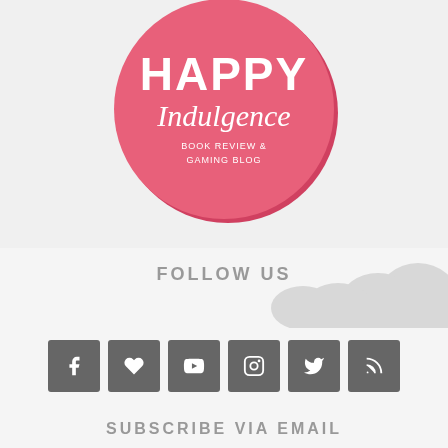[Figure (logo): Happy Indulgence book review and gaming blog logo — pink circle with white text reading HAPPY Indulgence, BOOK REVIEW & GAMING BLOG]
[Figure (illustration): Decorative cloud/scallop shape in light gray on the right side]
FOLLOW US
[Figure (infographic): Row of 6 social media icon buttons in dark gray: Facebook, Heart/Bloglovin, YouTube, Instagram, Twitter, RSS]
SUBSCRIBE VIA EMAIL